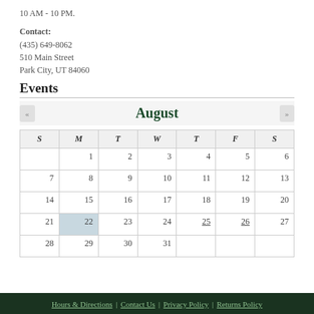10 AM - 10 PM.
Contact:
(435) 649-8062
510 Main Street
Park City, UT 84060
Events
[Figure (other): August calendar with navigation arrows. Days 1-31 shown in a 7-column grid (S M T W T F S). Day 22 is highlighted in blue. Days 25 and 26 are underlined.]
Hours & Directions | Contact Us | Privacy Policy | Returns Policy